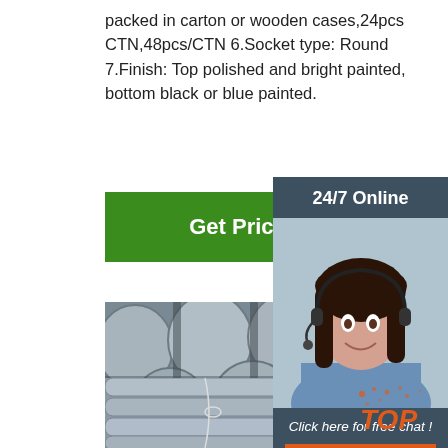packed in carton or wooden cases,24pcs CTN,48pcs/CTN 6.Socket type: Round 7.Finish: Top polished and bright painted, bottom black or blue painted.
Get Price
[Figure (photo): Stacked round steel bars/rods viewed from the ends, gray metallic appearance, bundled together]
[Figure (photo): Bundles of round steel bars/rods stacked horizontally with wire ties, some have handwritten markings]
[Figure (infographic): Sidebar showing 24/7 Online support with a woman wearing a headset. Includes 'Click here for free chat!' text and an orange QUOTATION button. TOP logo at bottom right.]